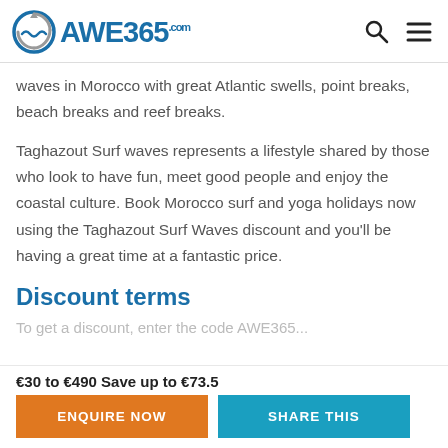AWE365.com
waves in Morocco with great Atlantic swells, point breaks, beach breaks and reef breaks.
Taghazout Surf waves represents a lifestyle shared by those who look to have fun, meet good people and enjoy the coastal culture. Book Morocco surf and yoga holidays now using the Taghazout Surf Waves discount and you'll be having a great time at a fantastic price.
Discount terms
€30 to €490 Save up to €73.5
ENQUIRE NOW   SHARE THIS